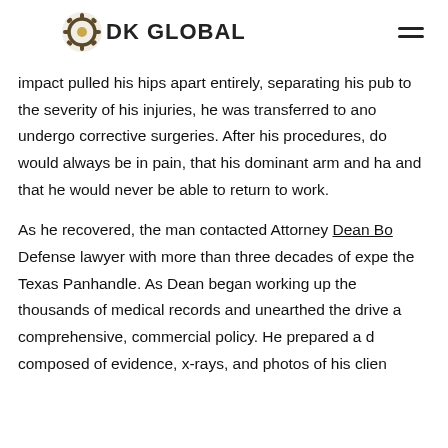DK GLOBAL
impact pulled his hips apart entirely, separating his pub to the severity of his injuries, he was transferred to ano undergo corrective surgeries. After his procedures, do would always be in pain, that his dominant arm and ha and that he would never be able to return to work.
As he recovered, the man contacted Attorney Dean Bo Defense lawyer with more than three decades of expe the Texas Panhandle. As Dean began working up the thousands of medical records and unearthed the drive a comprehensive, commercial policy. He prepared a d composed of evidence, x-rays, and photos of his clien